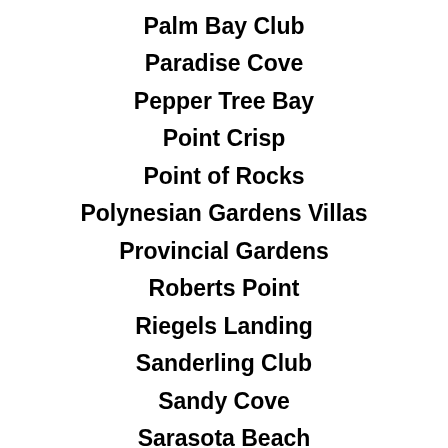Palm Bay Club
Paradise Cove
Pepper Tree Bay
Point Crisp
Point of Rocks
Polynesian Gardens Villas
Provincial Gardens
Roberts Point
Riegels Landing
Sanderling Club
Sandy Cove
Sarasota Beach
Sarasota Surf and Racquet Club
Sanderling Club
Sandy Hook
Seagrove
Sea Breeze